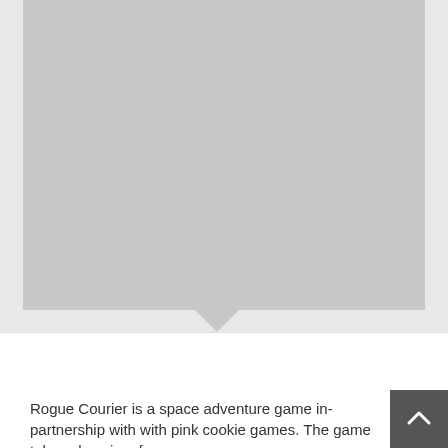[Figure (photo): Large gray placeholder image area at the top of the page with a speech bubble pointer at the bottom center]
Pinoytoons Rogue Courie version 4.10.01
814 mb
Rogue Courier is a space adventure game in-partnership with with pink cookie games. The game takes place in a far away